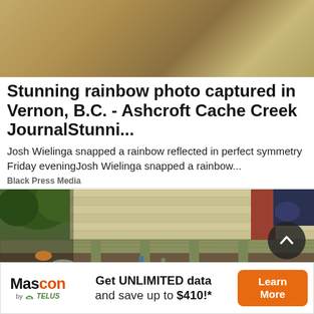[Figure (photo): Top portion of a photo showing a brownish-golden sky or ceiling, likely the top of a rainbow photo]
Stunning rainbow photo captured in Vernon, B.C. - Ashcroft Cache Creek JournalStunni...
Josh Wielinga snapped a rainbow reflected in perfect symmetry Friday eveningJosh Wielinga snapped a rainbow...
Black Press Media
[Figure (photo): Photo of the underside/foundation of a building or deck structure showing weathered wood siding, beams, and supports with tools/bottles visible underneath, with trees and a small animal in background]
[Figure (other): Advertisement banner: Mascon by TELUS - Get UNLIMITED data and save up to $410!* with Learn More button]